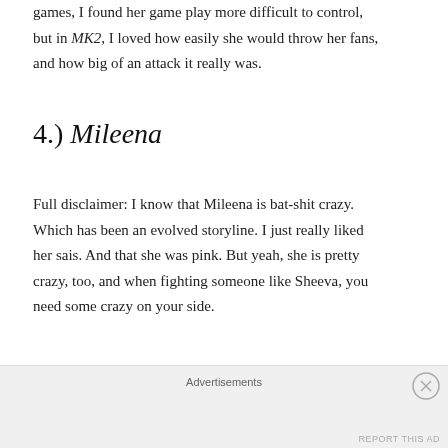games, I found her game play more difficult to control, but in MK2, I loved how easily she would throw her fans, and how big of an attack it really was.
4.) Mileena
Full disclaimer: I know that Mileena is bat-shit crazy. Which has been an evolved storyline. I just really liked her sais. And that she was pink. But yeah, she is pretty crazy, too, and when fighting someone like Sheeva, you need some crazy on your side.
5.) Jade
Advertisements